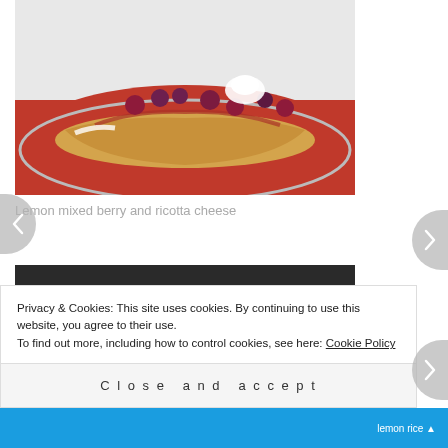[Figure (photo): Food photo showing a crepe or rolled pancake with berry sauce and mixed berries on top, on a white plate]
Lemon mixed berry and ricotta cheese
[Figure (photo): Food photo showing a savory dish with sauces on the side, appears to be a loaded toast or flatbread with toppings and two dipping sauces in bowls]
Privacy & Cookies: This site uses cookies. By continuing to use this website, you agree to their use.
To find out more, including how to control cookies, see here: Cookie Policy
Close and accept